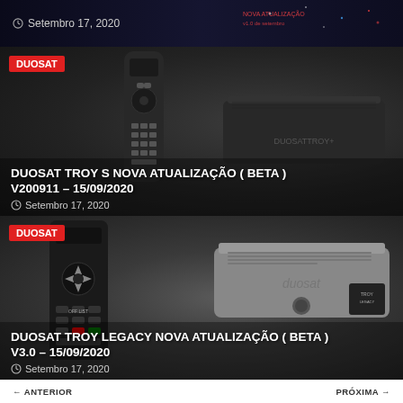[Figure (photo): Dark space themed banner image with date overlay showing Setembro 17, 2020]
[Figure (photo): Duosat Troy S set-top box with remote control on dark background, with DUOSAT badge]
DUOSAT TROY S NOVA ATUALIZAÇÃO ( BETA ) V200911 – 15/09/2020
Setembro 17, 2020
[Figure (photo): Duosat Troy Legacy set-top box with remote control on dark background, with DUOSAT badge]
DUOSAT TROY LEGACY NOVA ATUALIZAÇÃO ( BETA ) V3.0 – 15/09/2020
Setembro 17, 2020
ANTERIOR   PRÓXIMA